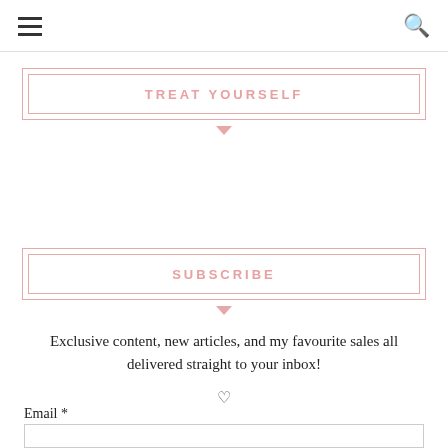TREAT YOURSELF
SUBSCRIBE
Exclusive content, new articles, and my favourite sales all delivered straight to your inbox!
Email *